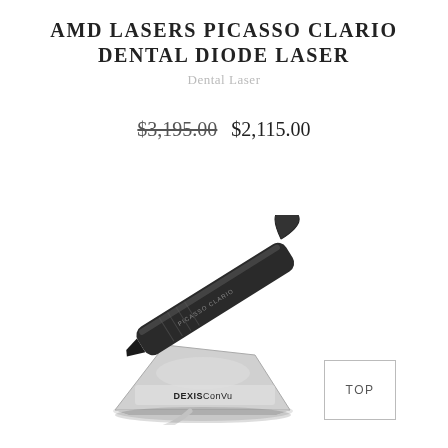AMD LASERS PICASSO CLARIO DENTAL DIODE LASER
Dental Laser
$3,195.00  $2,115.00
[Figure (photo): AMD Lasers Picasso Clario dental diode laser handpiece resting on a white charging dock labeled DEXISConVu, with a white cable, shown on a white background. A pink 'Sale' badge is overlaid at top right.]
TOP